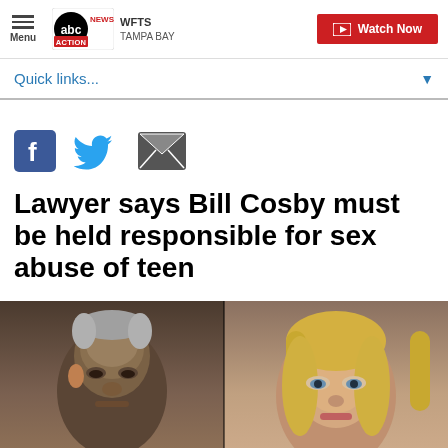Menu | abc ACTION NEWS WFTS TAMPA BAY | Watch Now
Quick links...
[Figure (other): Social sharing icons: Facebook, Twitter, Email]
Lawyer says Bill Cosby must be held responsible for sex abuse of teen
[Figure (photo): Split photo: elderly Black man on left looking down, blonde woman on right looking forward]